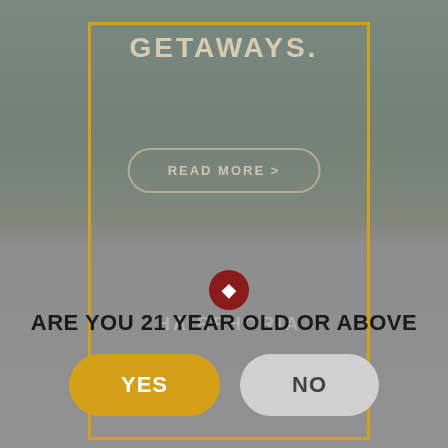[Figure (screenshot): Website screenshot showing a travel/lifestyle background with dark green outdoor scenery, a yellow-bordered modal popup overlay, a 'READ MORE >' button, a Hairphoria logo with red circular emblem, and an age verification dialog asking 'ARE YOU 21 YEAR OLD OR ABOVE' with YES (yellow) and NO (gray) buttons.]
GETAWAYS.
READ MORE >
ARE YOU 21 YEAR OLD OR ABOVE
YES
NO